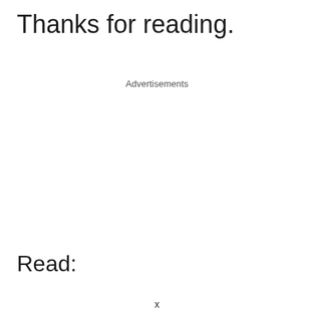Thanks for reading.
Advertisements
Read:
x